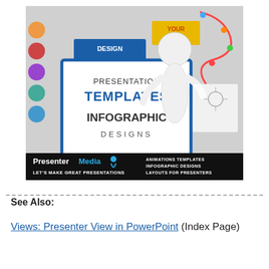[Figure (illustration): PresenterMedia advertisement image showing a 3D white figure holding a sign that reads 'Presentation Templates Infographic Designs', surrounded by design templates and infographics. Bottom bar reads: PresenterMedia - Let's Make Great Presentations - Animations Templates, Infographic Designs, Layouts for Presenters.]
See Also:
Views: Presenter View in PowerPoint (Index Page)